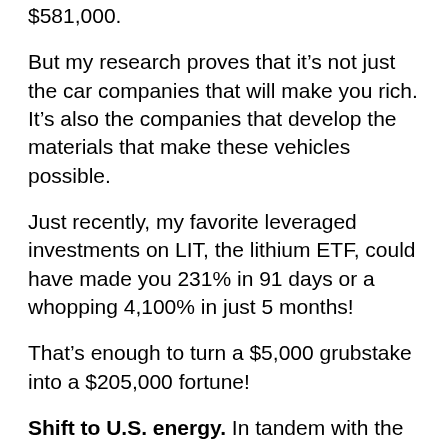$581,000.
But my research proves that it’s not just the car companies that will make you rich. It’s also the companies that develop the materials that make these vehicles possible.
Just recently, my favorite leveraged investments on LIT, the lithium ETF, could have made you 231% in 91 days or a whopping 4,100% in just 5 months!
That’s enough to turn a $5,000 grubstake into a $205,000 fortune!
Shift to U.S. energy. In tandem with the shift of capital to the United States, we’re seeing a massive shift from Middle Eastern crude oil to